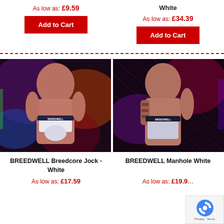White
As low as: £9.59
As low as: £34.39
Add to Cart
Add to Cart
[Figure (photo): Model wearing BREEDWELL Breedcore Jock in white, dark neon background]
[Figure (photo): Model wearing BREEDWELL Manhole product in white, dark neon background with mesh]
BREEDWELL Breedcore Jock - White
BREEDWELL Manhole White
As low as: £17.59
As low as: £19.99